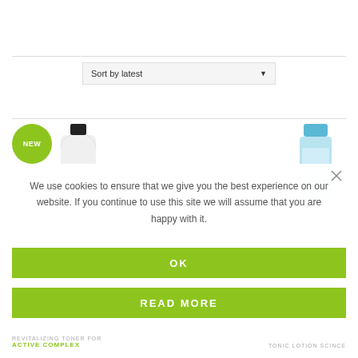[Figure (screenshot): Sort by latest dropdown filter UI element with gray background and dropdown arrow]
[Figure (photo): Product page showing two skincare product bottles with a NEW badge on the left product]
We use cookies to ensure that we give you the best experience on our website. If you continue to use this site we will assume that you are happy with it.
OK
READ MORE
REVITALIZING TONER FOR ACTIVE COMPLEX
TONIC LOTION SCINCE